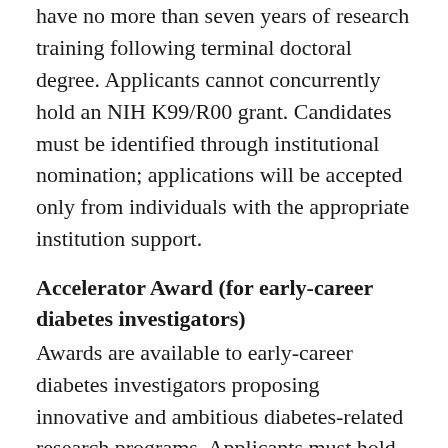have no more than seven years of research training following terminal doctoral degree. Applicants cannot concurrently hold an NIH K99/R00 grant. Candidates must be identified through institutional nomination; applications will be accepted only from individuals with the appropriate institution support.
Accelerator Award (for early-career diabetes investigators)
Awards are available to early-career diabetes investigators proposing innovative and ambitious diabetes-related research programs. Applicants must hold faculty positions and have demonstrated independent productivity in diabetes research. Applicants may currently hold independent NIH funding (K, U or R grants, but not including R01/U01) however, and